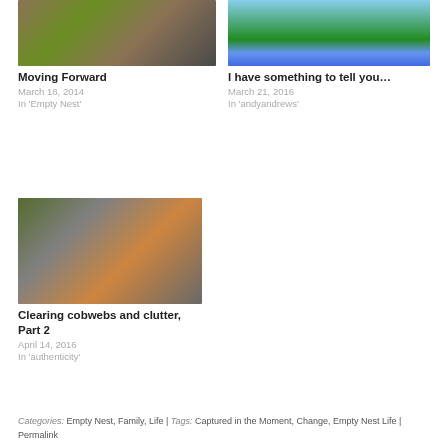[Figure (photo): Blog post thumbnail: bird nest with eggs]
Moving Forward
March 18, 2014
In 'Empty Nest'
[Figure (photo): Blog post thumbnail: person sitting on grass holding animals]
I have something to tell you…
March 21, 2016
In 'andyandrews'
[Figure (photo): Blog post thumbnail: cluttered room with boxes and bags]
Clearing cobwebs and clutter, Part 2
April 14, 2016
In 'authenticity'
Categories: Empty Nest, Family, Life | Tags: Captured in the Moment, Change, Empty Nest Life | Permalink